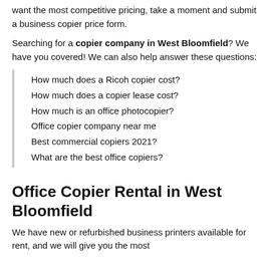want the most competitive pricing, take a moment and submit a business copier price form.
Searching for a copier company in West Bloomfield? We have you covered! We can also help answer these questions:
How much does a Ricoh copier cost?
How much does a copier lease cost?
How much is an office photocopier?
Office copier company near me
Best commercial copiers 2021?
What are the best office copiers?
Office Copier Rental in West Bloomfield
We have new or refurbished business printers available for rent, and we will give you the most